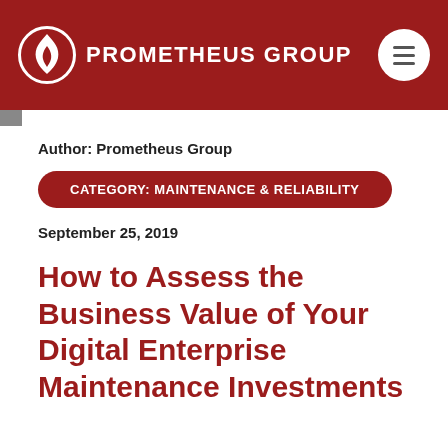Prometheus Group
Author: Prometheus Group
CATEGORY: Maintenance & Reliability
September 25, 2019
How to Assess the Business Value of Your Digital Enterprise Maintenance Investments